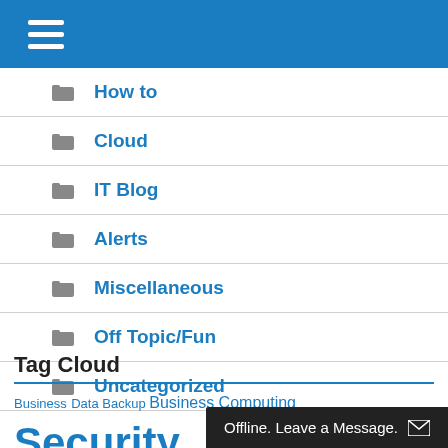≡ (hamburger menu)
How to
Cloud
IT Blog
Alerts
Miscellaneous
Off Topic/Fun
Uncategorized
Tag Cloud
Business Data Backup Business Computing Security Innovation Best Practices Tip of the Week